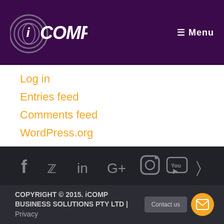iCOMP ☰ Menu
Log in
Entries feed
Comments feed
WordPress.org
[Figure (other): Social media icons row: Facebook, Twitter, LinkedIn, Google+, Instagram, YouTube, RSS]
COPYRIGHT © 2015. iCOMP BUSINESS SOLUTIONS PTY LTD | Privacy  Contact us